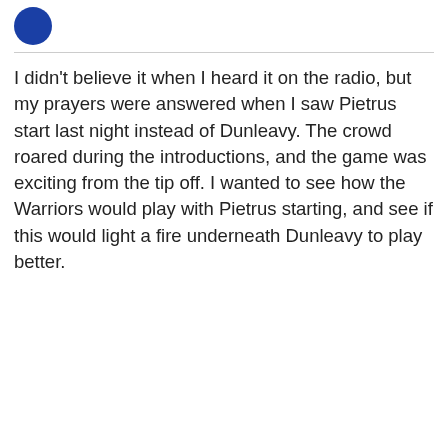[Figure (illustration): Partial blue circular avatar/profile icon in top-left corner]
I didn't believe it when I heard it on the radio, but my prayers were answered when I saw Pietrus start last night instead of Dunleavy. The crowd roared during the introductions, and the game was exciting from the tip off. I wanted to see how the Warriors would play with Pietrus starting, and see if this would light a fire underneath Dunleavy to play better.